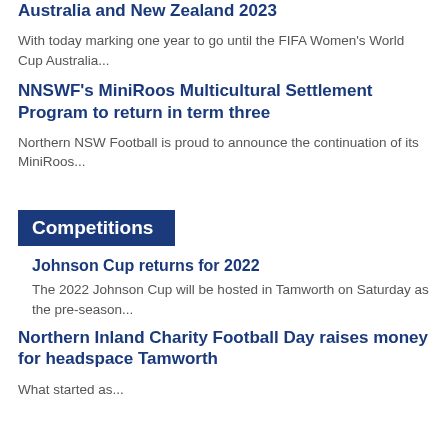Australia and New Zealand 2023
With today marking one year to go until the FIFA Women's World Cup Australia...
NNSWF's MiniRoos Multicultural Settlement Program to return in term three
Northern NSW Football is proud to announce the continuation of its MiniRoos...
Competitions
Johnson Cup returns for 2022
The 2022 Johnson Cup will be hosted in Tamworth on Saturday as the pre-season...
Northern Inland Charity Football Day raises money for headspace Tamworth
What started as...